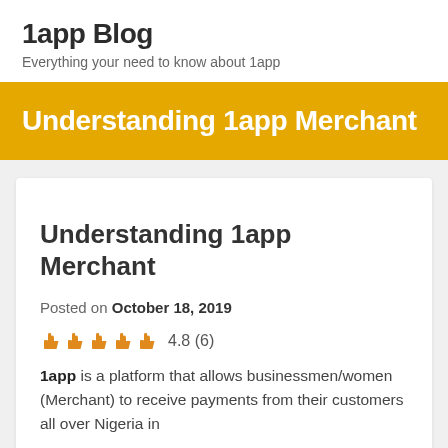1app Blog
Everything your need to know about 1app
Understanding 1app Merchant
Understanding 1app Merchant
Posted on October 18, 2019
4.8 (6)
1app is a platform that allows businessmen/women (Merchant) to receive payments from their customers all over Nigeria in